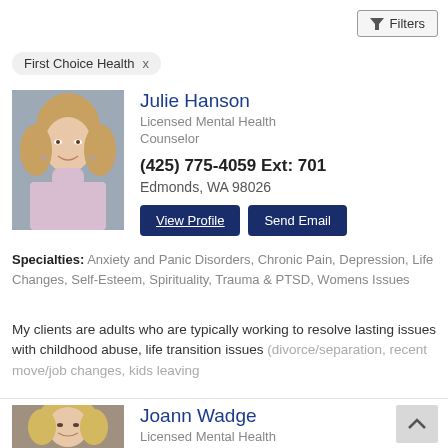Filters
First Choice Health  x
[Figure (photo): Headshot photo of Julie Hanson, a woman with blonde hair wearing a pink turtleneck, smiling against a grey background]
Julie Hanson
Licensed Mental Health Counselor
(425) 775-4059 Ext: 701
Edmonds, WA 98026
View Profile
Send Email
Specialties: Anxiety and Panic Disorders, Chronic Pain, Depression, Life Changes, Self-Esteem, Spirituality, Trauma & PTSD, Womens Issues
My clients are adults who are typically working to resolve lasting issues with childhood abuse, life transition issues (divorce/separation, recent move/job changes, kids leaving
[Figure (photo): Headshot photo of Joann Wadge, a woman with blonde hair]
Joann Wadge
Licensed Mental Health